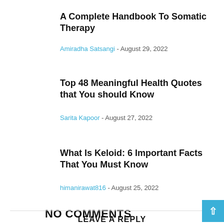A Complete Handbook To Somatic Therapy
Amiradha Satsangi - August 29, 2022
Top 48 Meaningful Health Quotes that You should Know
Sarita Kapoor - August 27, 2022
What Is Keloid: 6 Important Facts That You Must Know
himanirawat816 - August 25, 2022
NO COMMENTS
LEAVE A REPLY